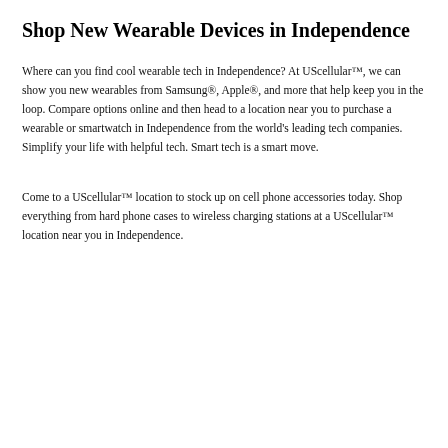Shop New Wearable Devices in Independence
Where can you find cool wearable tech in Independence? At UScellular™, we can show you new wearables from Samsung®, Apple®, and more that help keep you in the loop. Compare options online and then head to a location near you to purchase a wearable or smartwatch in Independence from the world's leading tech companies. Simplify your life with helpful tech. Smart tech is a smart move.
Come to a UScellular™ location to stock up on cell phone accessories today. Shop everything from hard phone cases to wireless charging stations at a UScellular™ location near you in Independence.
We Use Cookies
This site uses Cookies to provide you with a great user experience. To learn more, please see our Cookie Policy
[Cookie Preference Center button]